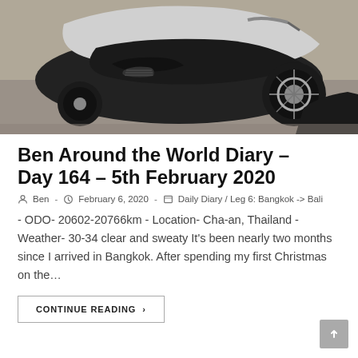[Figure (photo): Close-up photo of a motorcycle (scooter) lying on the ground, showing the front wheel, engine area, and body of the bike on a concrete/road surface.]
Ben Around the World Diary – Day 164 – 5th February 2020
Ben  -  February 6, 2020  -  Daily Diary / Leg 6: Bangkok -> Bali
- ODO- 20602-20766km - Location- Cha-an, Thailand - Weather- 30-34 clear and sweaty It's been nearly two months since I arrived in Bangkok. After spending my first Christmas on the…
CONTINUE READING  ›